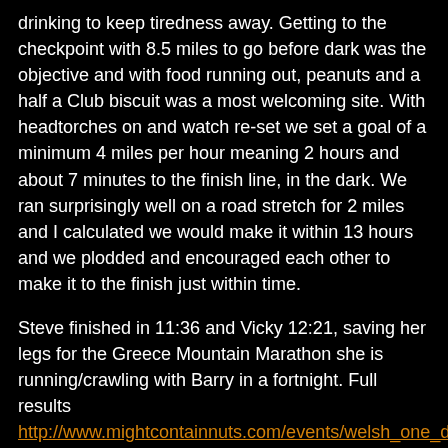drinking to keep tiredness away. Getting to the checkpoint with 8.5 miles to go before dark was the objective and with food running out, peanuts and a half a Club biscuit was a most welcoming site. With headtorches on and watch re-set we set a goal of a minimum 4 miles per hour meaning 2 hours and about 7 minutes to the finish line, in the dark. We ran surprisingly well on a road stretch for 2 miles and I calculated we would make it within 13 hours and we plodded and encouraged each other to make it to the finish just within time.
Steve finished in 11:36 and Vicky 12:21, saving her legs for the Greece Mountain Marathon she is running/crawling with Barry in a fortnight. Full results http://www.mightcontainnuts.com/events/welsh_one_day_ulti...
Time for a hot shower, hot food and a catch up to see how the other runners felt. It was a real struggle at the end but another massive achievement for me as I hadn't felt great beforehand and training has only been 8 weeks back from injury. A confidence booster for The Fellsman http://www.fellsman.org.uk/doku.php?id=overview...